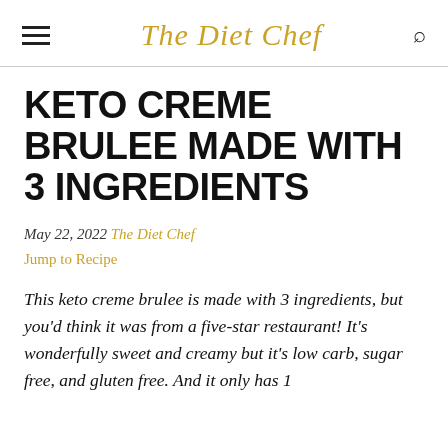The Diet Chef
KETO CREME BRULEE MADE WITH 3 INGREDIENTS
May 22, 2022 The Diet Chef
Jump to Recipe
This keto creme brulee is made with 3 ingredients, but you'd think it was from a five-star restaurant! It's wonderfully sweet and creamy but it's low carb, sugar free, and gluten free. And it only has 1